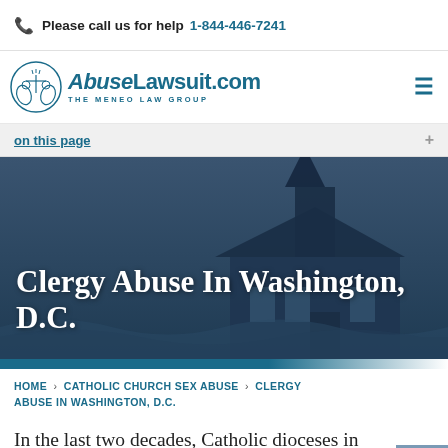Please call us for help  1-844-446-7241
[Figure (logo): AbuseLawsuit.com – The Meneo Law Group logo with hands holding scales of justice]
On this page
[Figure (photo): Hero image of a dark church with steeple against a dark blue-grey sky, with overlay text: Clergy Abuse In Washington, D.C.]
Clergy Abuse In Washington, D.C.
HOME › CATHOLIC CHURCH SEX ABUSE › CLERGY ABUSE IN WASHINGTON, D.C.
In the last two decades, Catholic dioceses in the United States have been the subject of a